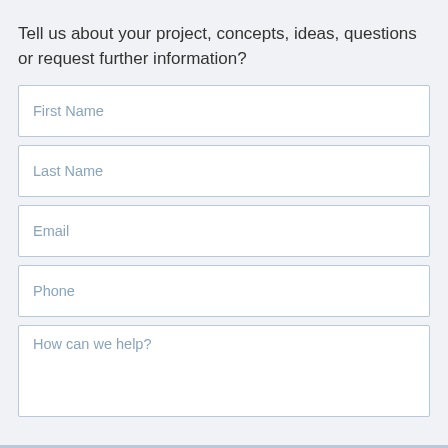Tell us about your project, concepts, ideas, questions or request further information?
First Name
Last Name
Email
Phone
How can we help?